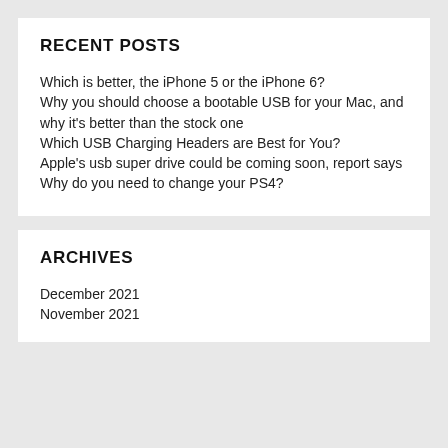RECENT POSTS
Which is better, the iPhone 5 or the iPhone 6?
Why you should choose a bootable USB for your Mac, and why it's better than the stock one
Which USB Charging Headers are Best for You?
Apple's usb super drive could be coming soon, report says
Why do you need to change your PS4?
ARCHIVES
December 2021
November 2021